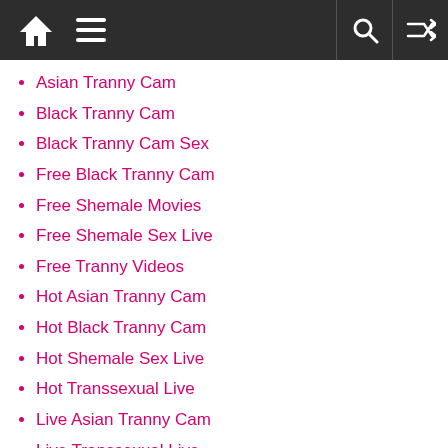Navigation bar with home, menu, search, and shuffle icons
Asian Tranny Cam
Black Tranny Cam
Black Tranny Cam Sex
Free Black Tranny Cam
Free Shemale Movies
Free Shemale Sex Live
Free Tranny Videos
Hot Asian Tranny Cam
Hot Black Tranny Cam
Hot Shemale Sex Live
Hot Transsexual Live
Live Asian Tranny Cam
Live Transsexual Live
Sex Shemale Blog
Shemale Sex Live
Transsexual Free Cam
Transsexual Live
XXX Shemale Sex Live
XXX Transsexual Live